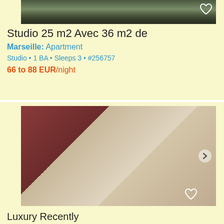[Figure (photo): Exterior photo of apartment building with trees and greenery]
Studio 25 m2 Avec 36 m2 de
Marseille: Apartment
Studio • 1 BA • Sleeps 3 • #256757
66 to 88 EUR/night
[Figure (photo): Interior photo showing a large ornate mirror and hallway with dining area]
Luxury Recently